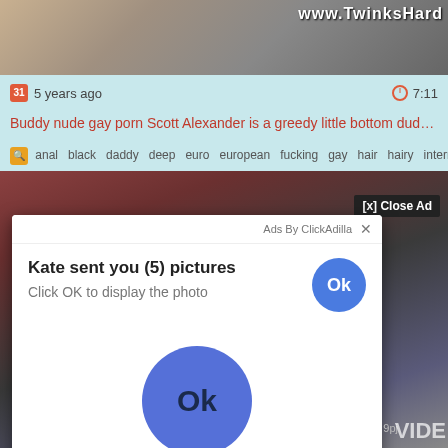[Figure (screenshot): Top portion of a video thumbnail showing partial body image with watermark www.TwinksHard in top right corner]
5 years ago   7:11
Buddy nude gay porn Scott Alexander is a greedy little bottom dude an...
anal  black  daddy  deep  euro  european  fucking  gay  hair  hairy  interracial ...
[Figure (screenshot): Background video thumbnail with blurred content and a popup ad overlay. The ad shows: '[x] Close Ad' button, 'Ads By ClickAdilla' with X close button, 'Kate sent you (5) pictures' with Ok button, 'Click OK to display the photo', and a large blue Ok button. Bottom right shows '9pj' and 'VIDE' text.]